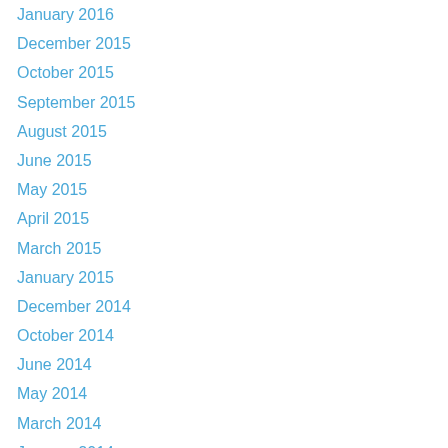January 2016
December 2015
October 2015
September 2015
August 2015
June 2015
May 2015
April 2015
March 2015
January 2015
December 2014
October 2014
June 2014
May 2014
March 2014
January 2014
December 2013
September 2013
August 2013
June 2013